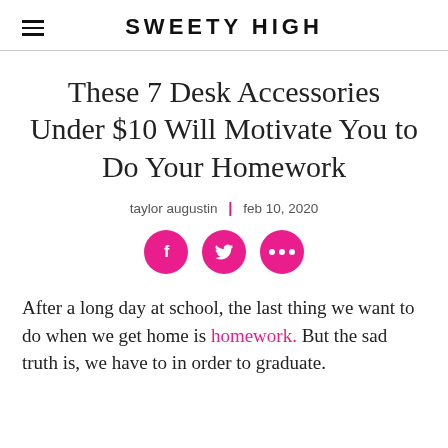SWEETY HIGH
These 7 Desk Accessories Under $10 Will Motivate You to Do Your Homework
taylor augustin | feb 10, 2020
[Figure (infographic): Three pink circular social media share buttons: Facebook (f), Twitter (bird), and more options (three dots)]
After a long day at school, the last thing we want to do when we get home is homework. But the sad truth is, we have to in order to graduate.